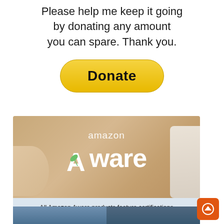Please help me keep it going by donating any amount you can spare. Thank you.
[Figure (other): Yellow PayPal-style Donate button with rounded pill shape]
[Figure (other): Amazon Aware advertisement banner. Top section shows warm skin-tone background with white text 'amazon' and large bold 'Aware' with a leaf icon replacing the A. Bottom section on light blue-grey background reads 'All Amazon Aware products feature certifications that are part of the Climate Pledge Friendly program' with Climate Pledge Friendly logo.]
[Figure (other): Bottom portion of an advertisement with two side-by-side photo panels on a blue background, partially visible]